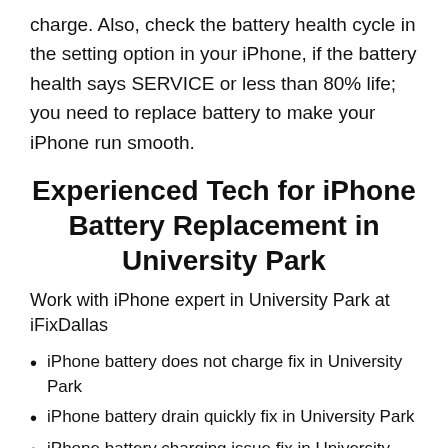charge. Also, check the battery health cycle in the setting option in your iPhone, if the battery health says SERVICE or less than 80% life; you need to replace battery to make your iPhone run smooth.
Experienced Tech for iPhone Battery Replacement in University Park
Work with iPhone expert in University Park at iFixDallas
iPhone battery does not charge fix in University Park
iPhone battery drain quickly fix in University Park
iPhone battery charging issue fix in University Park
iPhone battery health is below 85% fix in University Park
iPhone battery is heating fix in University Park
iPhone battery replacement service in University Park
iPhone battery charged to 100% fix in University Park